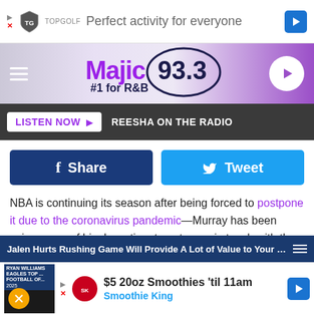[Figure (screenshot): TopGolf advertisement banner: 'Perfect activity for everyone']
Majic 93.3 #1 for R&B - site header with hamburger menu and play button
LISTEN NOW  REESHA ON THE RADIO
[Figure (screenshot): Share and Tweet social buttons]
NBA is continuing its season after being forced to postpone it due to the coronavirus pandemic—Murray has been using some of his down time to get more in touch with the music of his favorite rappers. Phoning in from the bubble, the 23-year-old basketball player gives XXL a rundown on his rap fandom and who he's been listening to while in Orlando.
Jalen Hurts Rushing Game Will Provide A Lot of Value to Your Fan...
[Figure (screenshot): Smoothie King advertisement: $5 20oz Smoothies 'til 11am]